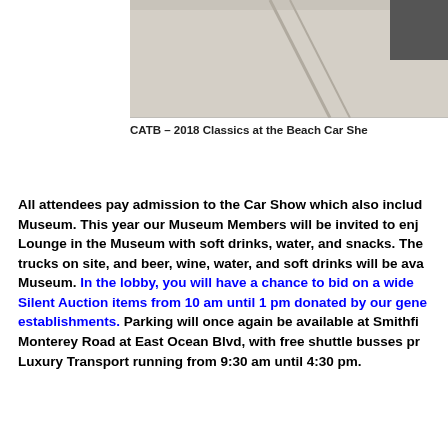[Figure (photo): Top portion of a photo showing a concrete/asphalt surface, likely a car show venue ground.]
CATB – 2018 Classics at the Beach Car She
All attendees pay admission to the Car Show which also includ Museum.  This year our Museum Members will be invited to enj Lounge in the Museum with soft drinks, water, and snacks.  The trucks on site, and beer, wine, water, and soft drinks will be ava Museum.  In the lobby, you will have a chance to bid on a wide Silent Auction items from 10 am until 1 pm donated by our gene establishments.  Parking will once again be available at Smithfi Monterey Road at East Ocean Blvd, with free shuttle busses pr Luxury Transport running from 9:30 am until 4:30 pm.